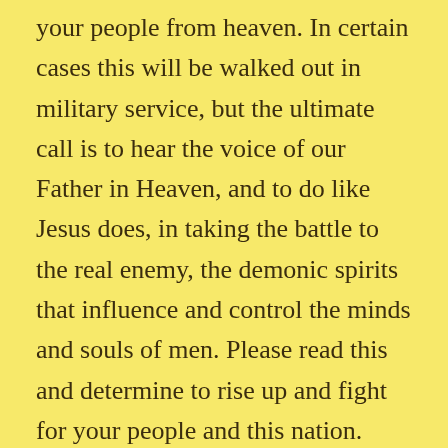your people from heaven. In certain cases this will be walked out in military service, but the ultimate call is to hear the voice of our Father in Heaven, and to do like Jesus does, in taking the battle to the real enemy, the demonic spirits that influence and control the minds and souls of men. Please read this and determine to rise up and fight for your people and this nation. When Jesus closest friend, John the Baptist was beheaded, He took the fight to the demonic spirits that caused his death, not in earthly military action.